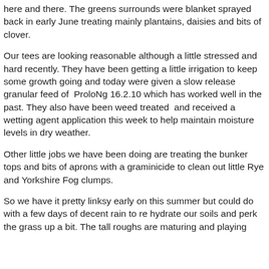here and there. The greens surrounds were blanket sprayed back in early June treating mainly plantains, daisies and bits of clover.
Our tees are looking reasonable although a little stressed and hard recently. They have been getting a little irrigation to keep some growth going and today were given a slow release granular feed of  ProloNg 16.2.10 which has worked well in the past. They also have been weed treated  and received a wetting agent application this week to help maintain moisture levels in dry weather.
Other little jobs we have been doing are treating the bunker tops and bits of aprons with a graminicide to clean out little Rye and Yorkshire Fog clumps.
So we have it pretty linksy early on this summer but could do with a few days of decent rain to re hydrate our soils and perk the grass up a bit. The tall roughs are maturing and playing